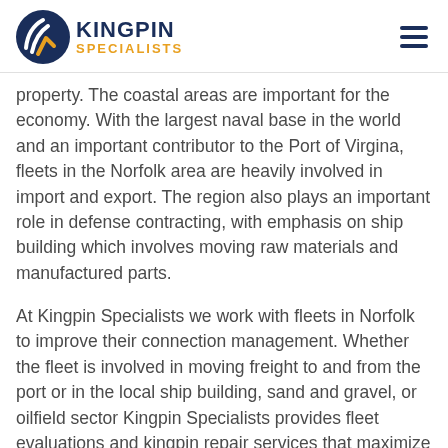KINGPIN SPECIALISTS
property. The coastal areas are important for the economy. With the largest naval base in the world and an important contributor to the Port of Virgina, fleets in the Norfolk area are heavily involved in import and export. The region also plays an important role in defense contracting, with emphasis on ship building which involves moving raw materials and manufactured parts.
At Kingpin Specialists we work with fleets in Norfolk to improve their connection management. Whether the fleet is involved in moving freight to and from the port or in the local ship building, sand and gravel, or oilfield sector Kingpin Specialists provides fleet evaluations and kingpin repair services that maximize uptime and reduce total cost or operation.